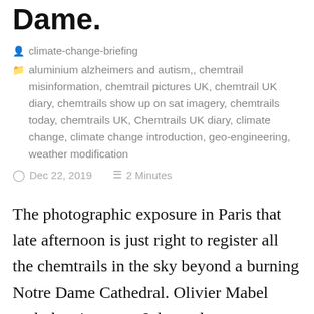Chemtrails above Notre Dame.
climate-change-briefing
aluminium alzheimers and autism,, chemtrail misinformation, chemtrail pictures UK, chemtrail UK diary, chemtrails show up on sat imagery, chemtrails today, chemtrails UK, Chemtrails UK diary, climate change, climate change introduction, geo-engineering, weather modification
Dec 22, 2019   2 Minutes
The photographic exposure in Paris that late afternoon is just right to register all the chemtrails in the sky beyond a burning Notre Dame Cathedral. Olivier Mabel took the pic, as yet I do not have permission, I hope they will be obliging.